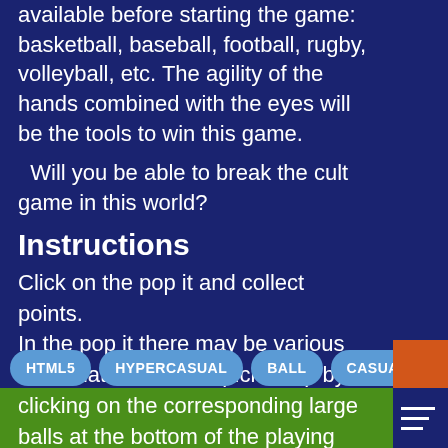available before starting the game: basketball, baseball, football, rugby, volleyball, etc. The agility of the hands combined with the eyes will be the tools to win this game.
Will you be able to break the cult game in this world?
Instructions
Click on the pop it and collect points.
In the pop it there may be various balls that need to be picked up by clicking on the corresponding large balls at the bottom of the playing field.
Categories
HTML5
HYPERCASUAL
BALL
CASUAL
BOYS